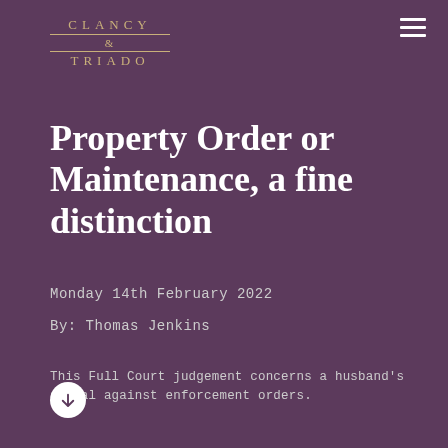[Figure (logo): Clancy & Triado law firm logo with gold text and decorative lines]
Property Order or Maintenance, a fine distinction
Monday 14th February 2022
By: Thomas Jenkins
This Full Court judgement concerns a husband's appeal against enforcement orders.